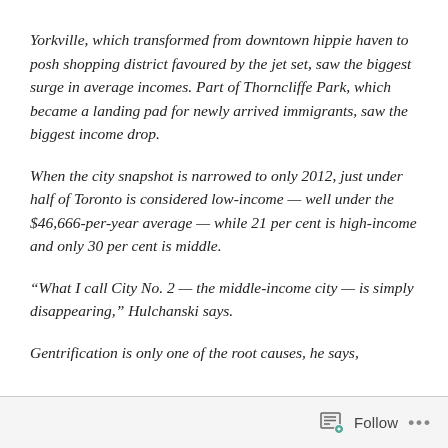Yorkville, which transformed from downtown hippie haven to posh shopping district favoured by the jet set, saw the biggest surge in average incomes. Part of Thorncliffe Park, which became a landing pad for newly arrived immigrants, saw the biggest income drop.
When the city snapshot is narrowed to only 2012, just under half of Toronto is considered low-income — well under the $46,666-per-year average — while 21 per cent is high-income and only 30 per cent is middle.
“What I call City No. 2 — the middle-income city — is simply disappearing,” Hulchanski says.
Gentrification is only one of the root causes, he says,
Follow ...